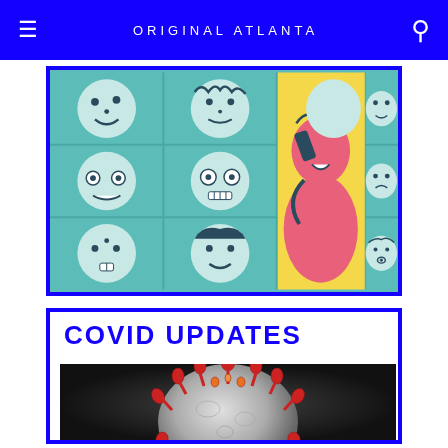ORIGINAL ATLANTA
[Figure (illustration): Grid of cartoon illustrated faces on teal background with a central large pop-art style figure of a woman in pink and yellow talking on a phone]
COVID UPDATES
[Figure (photo): Close-up photograph of a coronavirus particle model on dark background, showing red spike proteins on a gray spherical body]